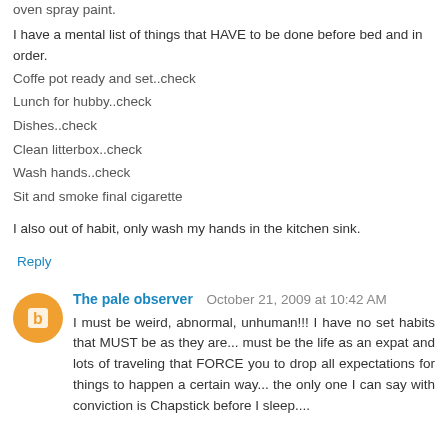oven spray paint.
I have a mental list of things that HAVE to be done before bed and in order.
Coffe pot ready and set..check
Lunch for hubby..check
Dishes..check
Clean litterbox..check
Wash hands..check
Sit and smoke final cigarette
I also out of habit, only wash my hands in the kitchen sink.
Reply
The pale observer   October 21, 2009 at 10:42 AM
I must be weird, abnormal, unhuman!!! I have no set habits that MUST be as they are... must be the life as an expat and lots of traveling that FORCE you to drop all expectations for things to happen a certain way... the only one I can say with conviction is Chapstick before I sleep....